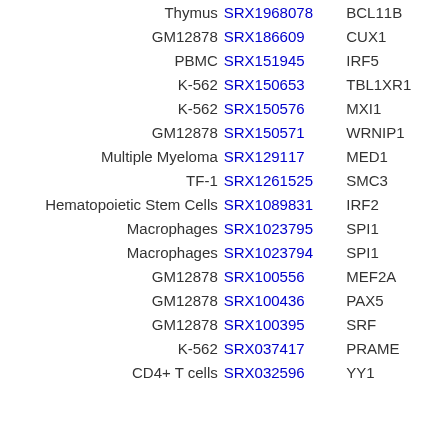| Cell Type | SRX ID | Factor |  |
| --- | --- | --- | --- |
| Thymus | SRX1968078 | BCL11B |  |
| GM12878 | SRX186609 | CUX1 |  |
| PBMC | SRX151945 | IRF5 |  |
| K-562 | SRX150653 | TBL1XR1 |  |
| K-562 | SRX150576 | MXI1 |  |
| GM12878 | SRX150571 | WRNIP1 |  |
| Multiple Myeloma | SRX129117 | MED1 |  |
| TF-1 | SRX1261525 | SMC3 |  |
| Hematopoietic Stem Cells | SRX1089831 | IRF2 |  |
| Macrophages | SRX1023795 | SPI1 |  |
| Macrophages | SRX1023794 | SPI1 |  |
| GM12878 | SRX100556 | MEF2A |  |
| GM12878 | SRX100436 | PAX5 |  |
| GM12878 | SRX100395 | SRF |  |
| K-562 | SRX037417 | PRAME |  |
| CD4+ T cells | SRX032596 | YY1 |  |